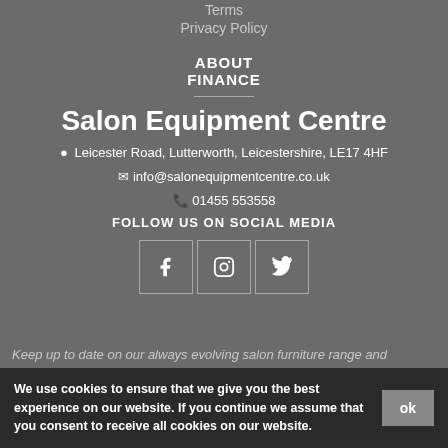Terms
Privacy Policy
ABOUT
FINANCE
Salon Equipment Centre
Leicester Road, Lutterworth, Leicestershire, LE17 4HF
info@salonequipmentcentre.co.uk
01455 553558
FOLLOW US ON SOCIAL MEDIA
[Figure (other): Social media icons: Facebook, Instagram, Twitter]
Keep up to date on our always evolving salon furniture range and
We use cookies to ensure that we give you the best experience on our website. If you continue we assume that you consent to receive all cookies on our website.